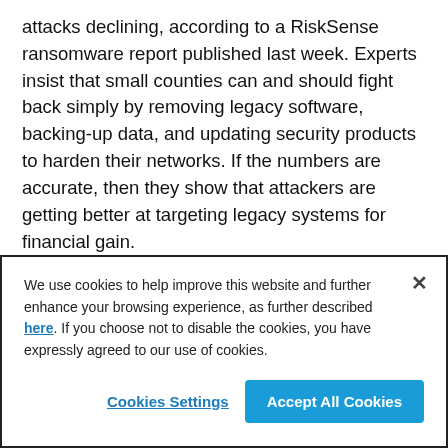attacks declining, according to a RiskSense ransomware report published last week. Experts insist that small counties can and should fight back simply by removing legacy software, backing-up data, and updating security products to harden their networks. If the numbers are accurate, then they show that attackers are getting better at targeting legacy systems for financial gain.
https://www.techrepublic.com/article/financial-impact-of-ransomware-attacks-increasing-despite-
We use cookies to help improve this website and further enhance your browsing experience, as further described here. If you choose not to disable the cookies, you have expressly agreed to our use of cookies.
Cookies Settings
Accept All Cookies